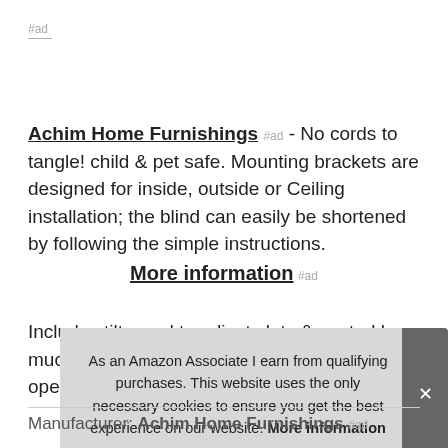#ad
Achim Home Furnishings #ad - No cords to tangle! child & pet safe. Mounting brackets are designed for inside, outside or Ceiling installation; the blind can easily be shortened by following the simple instructions.
More information #ad
Includes tilt wand to adjust slats & control how much sunlight streams into your room. To operate: lift or lower bottom rail to rais
As an Amazon Associate I earn from qualifying purchases. This website uses the only necessary cookies to ensure you get the best experience on our website. More information
Manufacturer: Achim Home Furnishings #ad